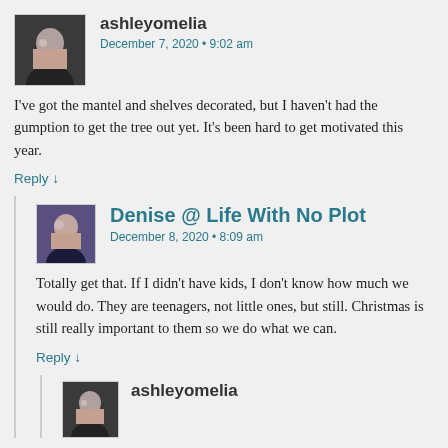[Figure (photo): Avatar photo of ashleyomelia - woman with dark hair]
ashleyomelia
December 7, 2020 • 9:02 am
I've got the mantel and shelves decorated, but I haven't had the gumption to get the tree out yet. It's been hard to get motivated this year.
Reply ↓
[Figure (photo): Avatar photo of Denise - woman with dark hair]
Denise @ Life With No Plot
December 8, 2020 • 8:09 am
Totally get that. If I didn't have kids, I don't know how much we would do. They are teenagers, not little ones, but still. Christmas is still really important to them so we do what we can.
Reply ↓
[Figure (photo): Avatar photo of ashleyomelia - woman with dark hair]
ashleyomelia